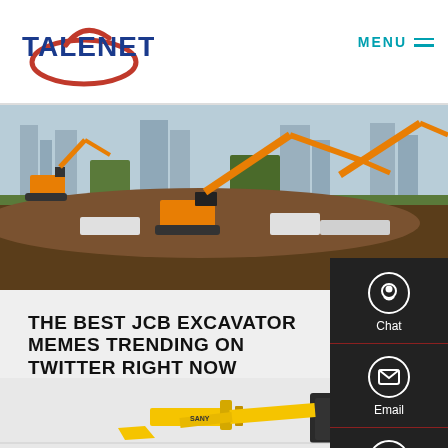TALENET  MENU
[Figure (photo): Construction site with multiple orange JCB excavators working on a large earthmoving project, city skyline in background]
THE BEST JCB EXCAVATOR MEMES TRENDING ON TWITTER RIGHT NOW
[Figure (photo): Yellow excavator machine partially visible at bottom of page]
[Figure (infographic): Sidebar with Chat, Email, and Contact icons on dark background]